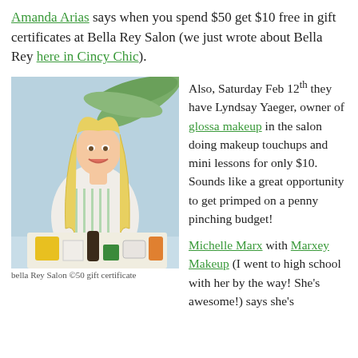Amanda Arias says when you spend $50 get $10 free in gift certificates at Bella Rey Salon (we just wrote about Bella Rey here in Cincy Chic).
[Figure (photo): Blonde woman sitting at a white table with beauty/makeup products in front of her, palm tree in background]
Also, Saturday Feb 12th they have Lyndsay Yaeger, owner of glossa makeup in the salon doing makeup touchups and mini lessons for only $10. Sounds like a great opportunity to get primped on a penny pinching budget!
Michelle Marx with Marxey Makeup (I went to high school with her by the way! She's awesome!) says she's
bella Rey Salon ©50 gift certificate